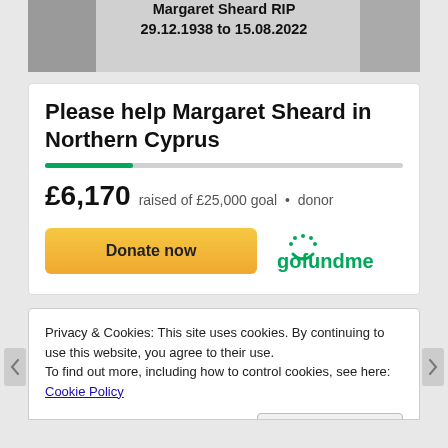[Figure (photo): Memorial banner with photo of Margaret Sheard on left and right, with text 'Margaret Sheard RIP 29.12.1938 to 15.08.2022' in the center.]
Please help Margaret Sheard in Northern Cyprus
£6,170  raised of £25,000 goal  •  donor
[Figure (other): Donate now button (orange/yellow) and GoFundMe logo]
Privacy & Cookies: This site uses cookies. By continuing to use this website, you agree to their use.
To find out more, including how to control cookies, see here: Cookie Policy
Close and accept